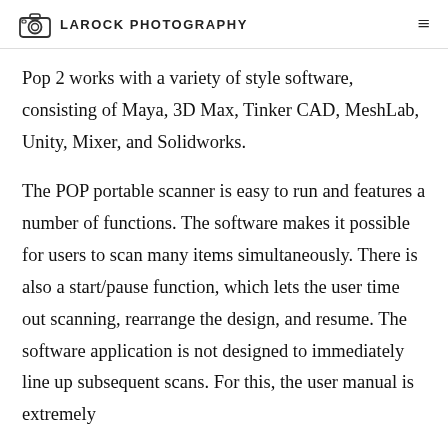LAROCK PHOTOGRAPHY
Pop 2 works with a variety of style software, consisting of Maya, 3D Max, Tinker CAD, MeshLab, Unity, Mixer, and Solidworks.
The POP portable scanner is easy to run and features a number of functions. The software makes it possible for users to scan many items simultaneously. There is also a start/pause function, which lets the user time out scanning, rearrange the design, and resume. The software application is not designed to immediately line up subsequent scans. For this, the user manual is extremely